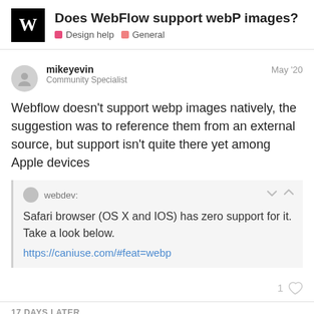Does WebFlow support webP images?
Design help  General
mikeyevin
Community Specialist
May '20
Webflow doesn't support webp images natively, the suggestion was to reference them from an external source, but support isn't quite there yet among Apple devices
webdev:
Safari browser (OS X and IOS) has zero support for it. Take a look below.
https://caniuse.com/#feat=webp
1
17 DAYS LATER
Ju Ho Yoon
7 / 27